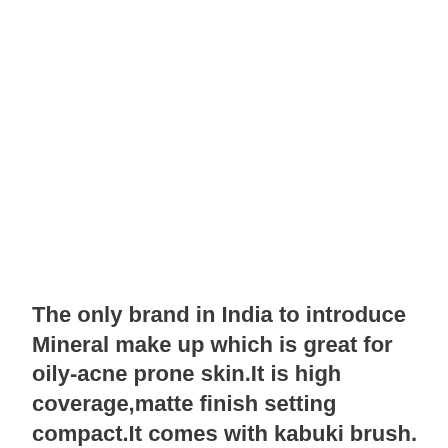The only brand in India to introduce Mineral make up which is great for oily-acne prone skin.It is high coverage,matte finish setting compact.It comes with kabuki brush.